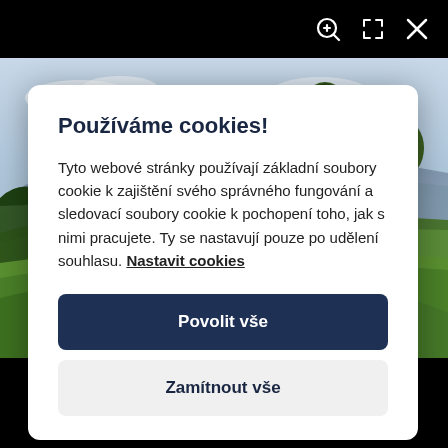[Figure (screenshot): Top black browser toolbar with zoom-in, expand, and close (X) icons on the right side]
[Figure (photo): Golf course landscape with green fairways, trees, and blue mountains in the background under a partly cloudy sky]
Používáme cookies!
Tyto webové stránky používají základní soubory cookie k zajištění svého správného fungování a sledovací soubory cookie k pochopení toho, jak s nimi pracujete. Ty se nastavují pouze po udělení souhlasu. Nastavit cookies
Povolit vše
Zamítnout vše